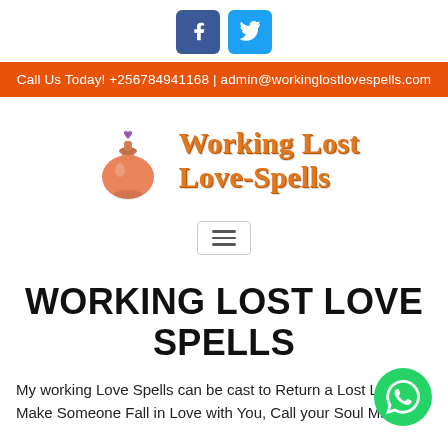[Figure (logo): Facebook and Twitter social media icon buttons on white background]
Call Us Today! +256784941168 | admin@workinglostlovespells.com
[Figure (logo): Working Lost Love Spells logo with orange potion bottle illustration and orange decorative text]
[Figure (other): Hamburger menu button (three horizontal lines)]
WORKING LOST LOVE SPELLS
My working Love Spells can be cast to Return a Lost L... Make Someone Fall in Love with You, Call your Soul Mate...